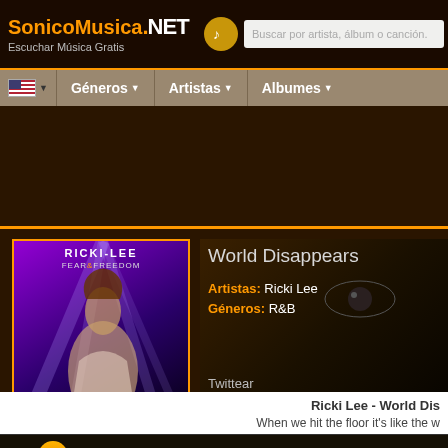SonicoMusica .NET — Escuchar Música Gratis — Buscar por artista, álbum o canción.
Géneros ▾  Artistas ▾  Albumes ▾
[Figure (screenshot): Album art for Ricki-Lee Fear & Freedom with purple background and artist silhouette]
World Disappears
Artistas: Ricki Lee
Géneros: R&B
Twittear
f COMPARTIR
00:00  03:48
Ricki Lee - World Dis
When we hit the floor it's like the w